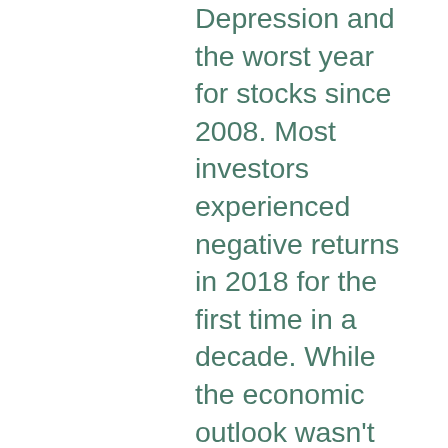Depression and the worst year for stocks since 2008. Most investors experienced negative returns in 2018 for the first time in a decade. While the economic outlook wasn't as gloomy as the media suggested, market watchers were very divided on whether it was just a blip or if a bear market was ahead. Flash forward a year, and the S&P 500 Index rose almost 10% in just the fourth quarter of 2019 and ended the year up 28.9%. It was a strong year across all of the indexes, with the Nasdaq up 35% and the Dow Jones Industrial Average by 22%. The rally was not just limited to stocks, as the Barclay's Aggregate Bond Index was also up 9%, and commodities such as